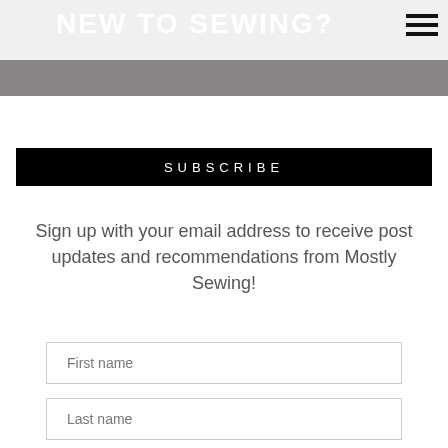NEW TO SEWING?
SUBSCRIBE
Sign up with your email address to receive post updates and recommendations from Mostly Sewing!
First name
Last name